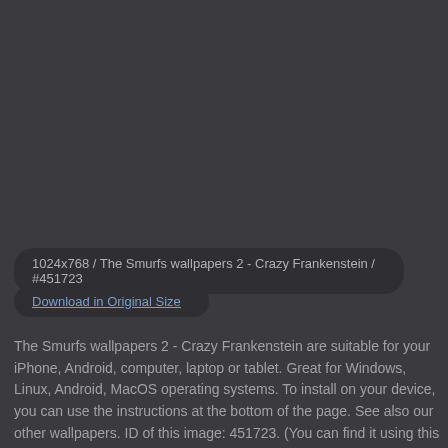[Figure (photo): Dark background area where a wallpaper image would be displayed]
1024x768 / The Smurfs wallpapers 2 - Crazy Frankenstein / #451723
Download in Original Size
The Smurfs wallpapers 2 - Crazy Frankenstein are suitable for your iPhone, Android, computer, laptop or tablet. Great for Windows, Linux, Android, MacOS operating systems. To install on your device, you can use the instructions at the bottom of the page. See also our other wallpapers. ID of this image: 451723. (You can find it using this number).